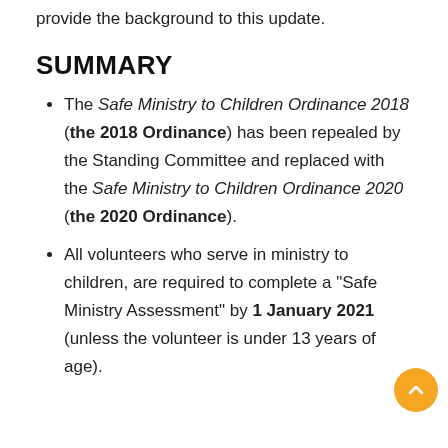provide the background to this update.
SUMMARY
The Safe Ministry to Children Ordinance 2018 (the 2018 Ordinance) has been repealed by the Standing Committee and replaced with the Safe Ministry to Children Ordinance 2020 (the 2020 Ordinance).
All volunteers who serve in ministry to children, are required to complete a "Safe Ministry Assessment" by 1 January 2021 (unless the volunteer is under 13 years of age).